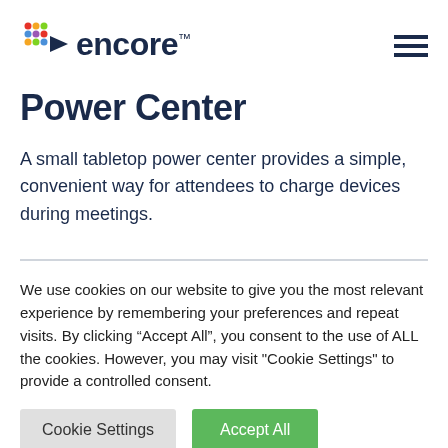encore [logo] [navigation menu]
Power Center
A small tabletop power center provides a simple, convenient way for attendees to charge devices during meetings.
We use cookies on our website to give you the most relevant experience by remembering your preferences and repeat visits. By clicking “Accept All”, you consent to the use of ALL the cookies. However, you may visit "Cookie Settings" to provide a controlled consent.
Cookie Settings | Accept All